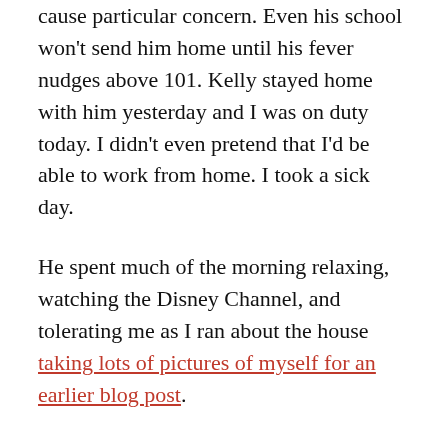cause particular concern. Even his school won't send him home until his fever nudges above 101. Kelly stayed home with him yesterday and I was on duty today. I didn't even pretend that I'd be able to work from home. I took a sick day.
He spent much of the morning relaxing, watching the Disney Channel, and tolerating me as I ran about the house taking lots of pictures of myself for an earlier blog post.
At noon, we sat together at the kitchen table and ate our respective lunches. (I'd packed my lunch last night, just in case the Little Man was well enough to go to school.) The Little Man had a sliced up hot dog and bananas. I had peanut butter and jelly. For dessert, we shared Oreo cookies. It was fun having